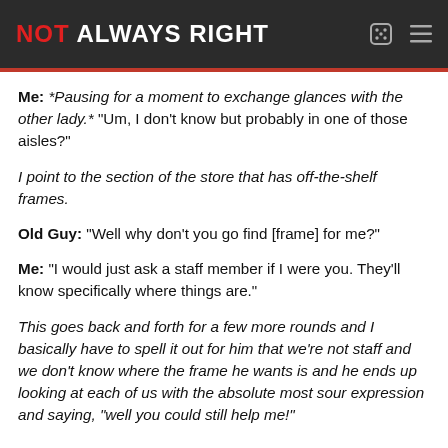NOT ALWAYS RIGHT
Me: *Pausing for a moment to exchange glances with the other lady.* "Um, I don't know but probably in one of those aisles?"
I point to the section of the store that has off-the-shelf frames.
Old Guy: "Well why don't you go find [frame] for me?"
Me: "I would just ask a staff member if I were you. They'll know specifically where things are."
This goes back and forth for a few more rounds and I basically have to spell it out for him that we're not staff and we don't know where the frame he wants is and he ends up looking at each of us with the absolute most sour expression and saying, "well you could still help me!"